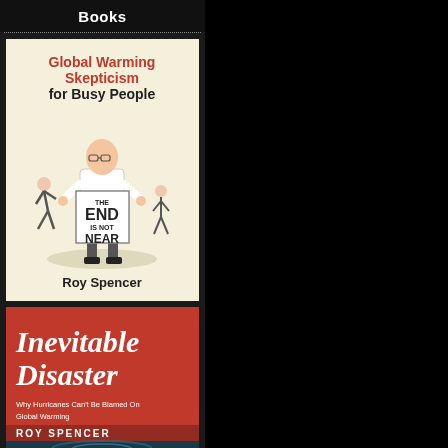Books
[Figure (illustration): Book cover: 'Global Warming Skepticism for Busy People' by Roy Spencer. Cream/beige background with red title text at top. Center illustration shows a cartoon man in a white lab coat holding a sign that reads 'THE END IS NOT NEAR'. Two smaller cartoon figures flank him.]
[Figure (illustration): Book cover: 'Inevitable Disaster' by Roy Spencer. Red background with large white italic title text 'Inevitable Disaster'. Subtitle reads 'Why Hurricanes Can't Be Blamed On Global Warming'. Author name 'ROY SPENCER' in white caps on a dark red banner. Bottom portion shows a satellite image of a hurricane.]